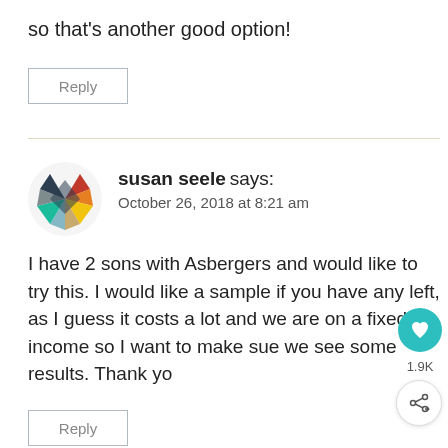so that's another good option!
Reply
susan seele says:
October 26, 2018 at 8:21 am
I have 2 sons with Asbergers and would like to try this. I would like a sample if you have any left, as I guess it costs a lot and we are on a fixed income so I want to make sue we see some results. Thank yo
Reply